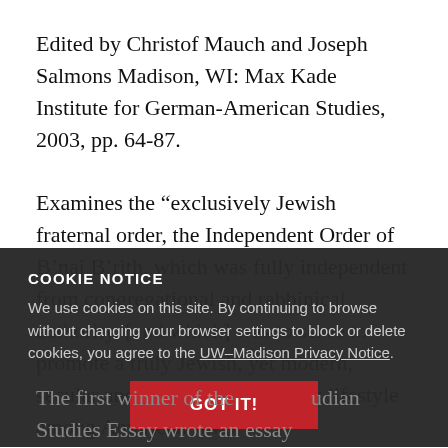Edited by Christof Mauch and Joseph Salmons Madison, WI: Max Kade Institute for German-American Studies, 2003, pp. 64-87.
Examines the “exclusively Jewish fraternal order, the Independent Order of B’nai B’rith, which was fully independent from congregational and rabbinical authority, [and which] was to serve to promote a truly Jewish, yet modern, secular and respectable religious lifestyle among American Jews”
COOKIE NOTICE
We use cookies on this site. By continuing to browse without changing your browser settings to block or delete cookies, you agree to the UW–Madison Privacy Notice.
The first winner of the Judaica Studies Essay wrote an essay entitle... Endeavor: Possible S...